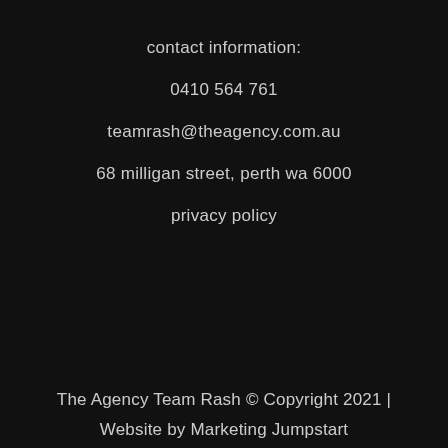contact information:
0410 564 761
teamrash@theagency.com.au
68 milligan street, perth wa 6000
privacy policy
The Agency Team Rash © Copyright 2021 | Website by Marketing Jumpstart